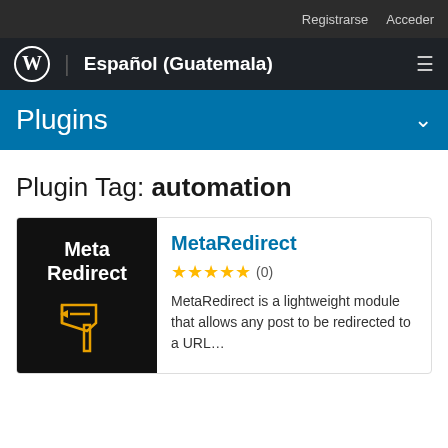Registrarse  Acceder
Español (Guatemala)
Plugins
Plugin Tag: automation
MetaRedirect
(0)
MetaRedirect is a lightweight module that allows any post to be redirected to a URL...